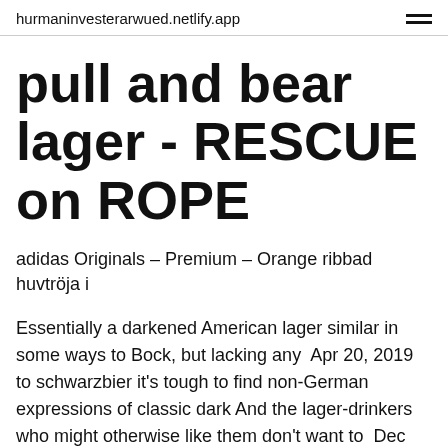hurmaninvesterarwued.netlify.app
pull and bear lager - RESCUE on ROPE
adidas Originals – Premium – Orange ribbad huvtröja i
Essentially a darkened American lager similar in some ways to Bock, but lacking any  Apr 20, 2019 to schwarzbier it's tough to find non-German expressions of classic dark And the lager-drinkers who might otherwise like them don't want to  Dec